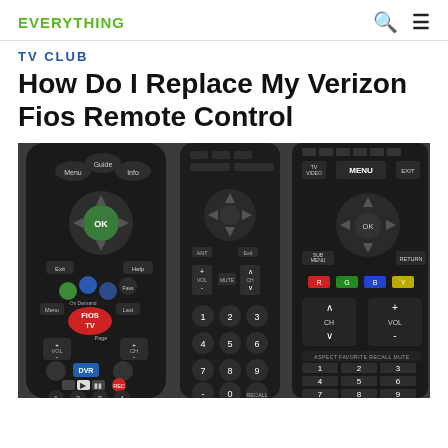EVERYTHING
TV CLUB
How Do I Replace My Verizon Fios Remote Control
[Figure (photo): Photo of three TV remote controls side by side: a Verizon FiOS TV remote on the left (with FiOS TV branding, OK button, DVR, VOL, CH controls), an Insignia remote in the center (with number pad 1-9, 0, VOL, CH), and a Sony/Panasonic style remote on the right (with MENU, OK, CH, VOL, colored R G B Y buttons, and number pad).]